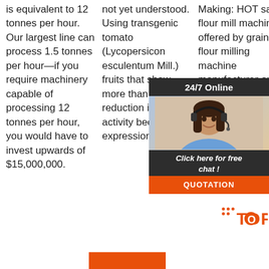is equivalent to 12 tonnes per hour. Our largest line can process 1.5 tonnes per hour—if you require machinery capable of processing 12 tonnes per hour, you would have to invest upwards of $15,000,000.
not yet understood. Using transgenic tomato (Lycopersicon esculentum Mill.) fruits that show more than 10-fold reduction in PME activity because of expression o …
Making: HOT sale flour mill machine offered by grain flour milling machine manufacturer or guide you properly where flour production and how to start flour milling business with
[Figure (photo): Advertisement overlay with '24/7 Online' header, photo of woman with headset, 'Click here for free chat!' text, and orange QUOTATION button]
[Figure (logo): TOP logo with orange dots decoration at bottom right]